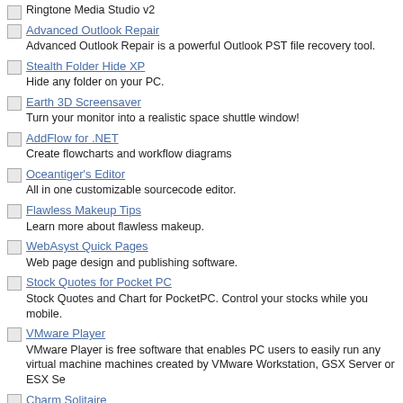Ringtone Media Studio v2
Advanced Outlook Repair
Advanced Outlook Repair is a powerful Outlook PST file recovery tool.
Stealth Folder Hide XP
Hide any folder on your PC.
Earth 3D Screensaver
Turn your monitor into a realistic space shuttle window!
AddFlow for .NET
Create flowcharts and workflow diagrams
Oceantiger's Editor
All in one customizable sourcecode editor.
Flawless Makeup Tips
Learn more about flawless makeup.
WebAsyst Quick Pages
Web page design and publishing software.
Stock Quotes for Pocket PC
Stock Quotes and Chart for PocketPC. Control your stocks while you mobile.
VMware Player
VMware Player is free software that enables PC users to easily run any virtual machine machines created by VMware Workstation, GSX Server or ESX Se
Charm Solitaire
Place cards on the playing field, so that they all turn face down
ByteRun Website Compiler
Compile your website into exe and burn it to CD.
Matrix Reality 3D ScreenSaver